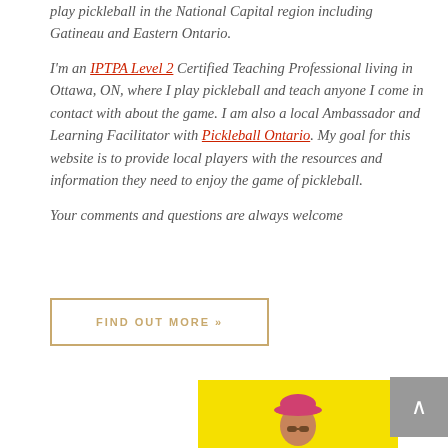play pickleball in the National Capital region including Gatineau and Eastern Ontario.

I'm an IPTPA Level 2 Certified Teaching Professional living in Ottawa, ON, where I play pickleball and teach anyone I come in contact with about the game. I am also a local Ambassador and Learning Facilitator with Pickleball Ontario. My goal for this website is to provide local players with the resources and information they need to enjoy the game of pickleball.

Your comments and questions are always welcome
FIND OUT MORE »
[Figure (photo): Person wearing a pink cap on a yellow background, partially visible at the bottom of the page]